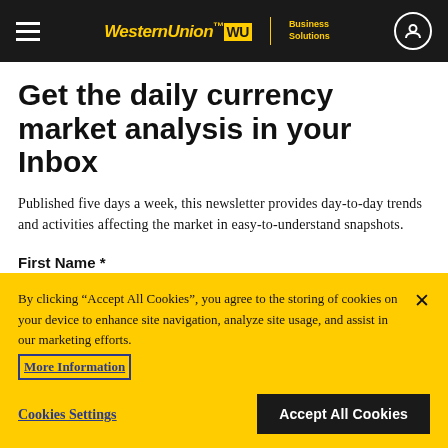WesternUnion WU | Business Solutions
Get the daily currency market analysis in your Inbox
Published five days a week, this newsletter provides day-to-day trends and activities affecting the market in easy-to-understand snapshots.
First Name *
First Name
By clicking “Accept All Cookies”, you agree to the storing of cookies on your device to enhance site navigation, analyze site usage, and assist in our marketing efforts. More Information
Cookies Settings
Accept All Cookies